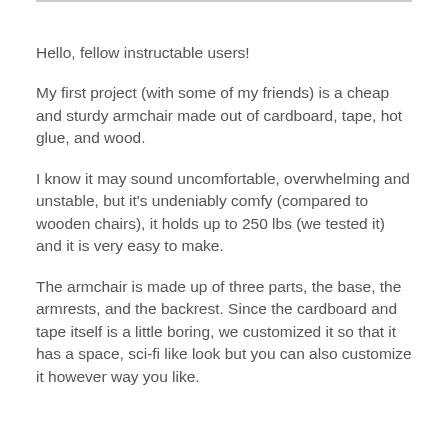Hello, fellow instructable users!
My first project (with some of my friends) is a cheap and sturdy armchair made out of cardboard, tape, hot glue, and wood.
I know it may sound uncomfortable, overwhelming and unstable, but it's undeniably comfy (compared to wooden chairs), it holds up to 250 lbs (we tested it) and it is very easy to make.
The armchair is made up of three parts, the base, the armrests, and the backrest. Since the cardboard and tape itself is a little boring, we customized it so that it has a space, sci-fi like look but you can also customize it however way you like.